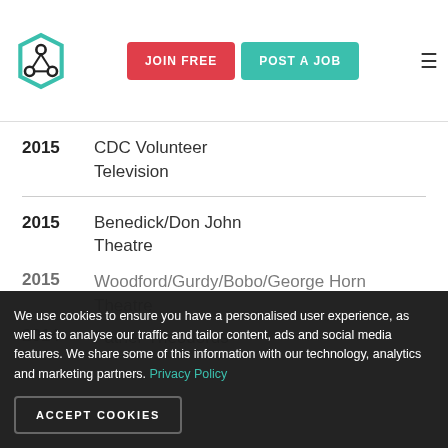JOIN FREE | POST A JOB
2015  CDC Volunteer Television
2015  Benedick/Don John  Theatre
2015  Woodford/Gurdy/Bobo/George  Horn Theatre
2014  Father Theodorus
We use cookies to ensure you have a personalised user experience, as well as to analyse our traffic and tailor content, ads and social media features. We share some of this information with our technology, analytics and marketing partners. Privacy Policy
ACCEPT COOKIES